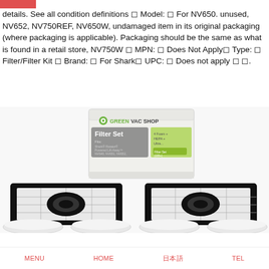details. See all condition definitions ◻ Model: ◻ For NV650. unused, NV652, NV750REF, NV650W, undamaged item in its original packaging (where packaging is applicable). Packaging should be the same as what is found in a retail store, NV750W ◻ MPN: ◻ Does Not Apply◻ Type: ◻ Filter/Filter Kit ◻ Brand: ◻ For Shark◻ UPC: ◻ Does not apply ◻ ◻.
[Figure (photo): Product photo showing Green Vac Shop Filter Set box with two black HEPA filters and four white foam filters for Shark Rotator Powered Lift-Away vacuum models]
MENU   HOME   일본어   TEL